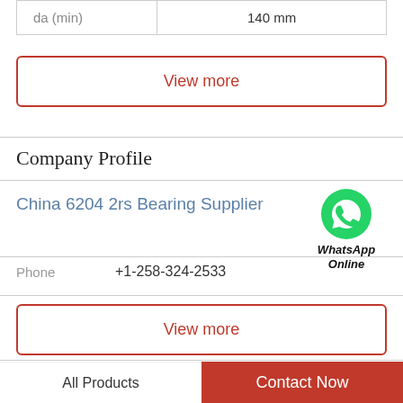| da (min) | 140 mm |
View more
Company Profile
China 6204 2rs Bearing Supplier
[Figure (logo): WhatsApp green phone icon with label WhatsApp Online]
Phone   +1-258-324-2533
View more
Related News
All Products   Contact Now